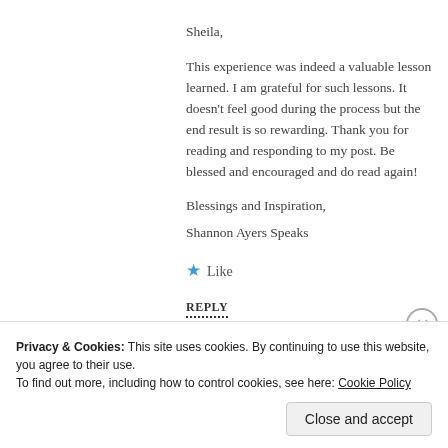Sheila,
This experience was indeed a valuable lesson learned. I am grateful for such lessons. It doesn't feel good during the process but the end result is so rewarding. Thank you for reading and responding to my post. Be blessed and encouraged and do read again!
Blessings and Inspiration,
Shannon Ayers Speaks
★ Like
REPLY
Privacy & Cookies: This site uses cookies. By continuing to use this website, you agree to their use.
To find out more, including how to control cookies, see here: Cookie Policy
Close and accept